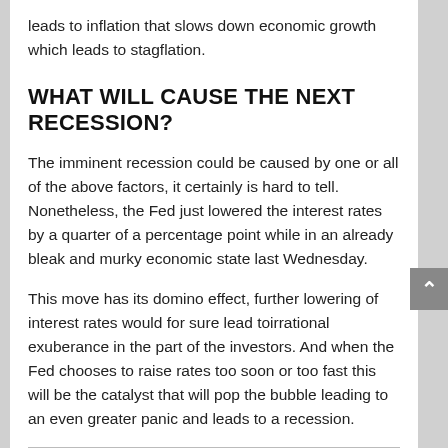leads to inflation that slows down economic growth which leads to stagflation.
WHAT WILL CAUSE THE NEXT RECESSION?
The imminent recession could be caused by one or all of the above factors, it certainly is hard to tell. Nonetheless, the Fed just lowered the interest rates by a quarter of a percentage point while in an already bleak and murky economic state last Wednesday.
This move has its domino effect, further lowering of interest rates would for sure lead toirrational exuberance in the part of the investors. And when the Fed chooses to raise rates too soon or too fast this will be the catalyst that will pop the bubble leading to an even greater panic and leads to a recession.